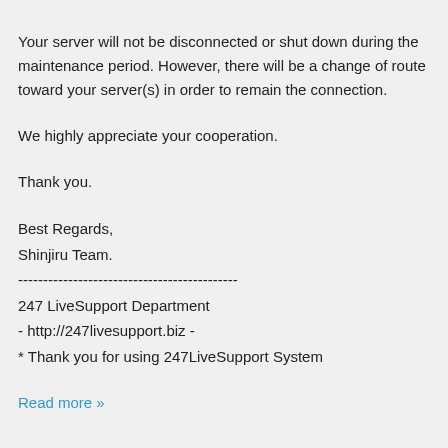Your server will not be disconnected or shut down during the maintenance period. However, there will be a change of route toward your server(s) in order to remain the connection.
We highly appreciate your cooperation.
Thank you.
Best Regards,
Shinjiru Team.
--------------------------------------------
247 LiveSupport Department
- http://247livesupport.biz -
* Thank you for using 247LiveSupport System
Read more »